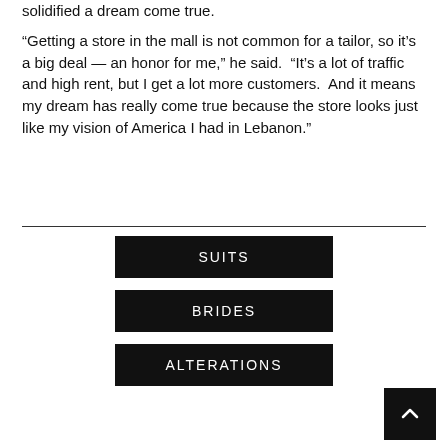solidified a dream come true.

“Getting a store in the mall is not common for a tailor, so it’s a big deal — an honor for me,” he said.  “It’s a lot of traffic and high rent, but I get a lot more customers.  And it means my dream has really come true because the store looks just like my vision of America I had in Lebanon.”
SUITS
BRIDES
ALTERATIONS